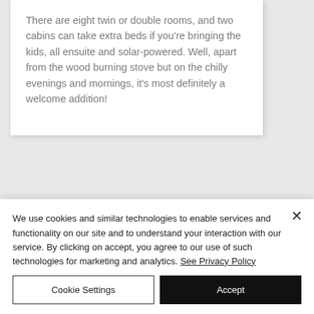There are eight twin or double rooms, and two cabins can take extra beds if you’re bringing the kids, all ensuite and solar-powered. Well, apart from the wood burning stove but on the chilly evenings and mornings, it's most definitely a welcome addition!
Facilities
We use cookies and similar technologies to enable services and functionality on our site and to understand your interaction with our service. By clicking on accept, you agree to our use of such technologies for marketing and analytics. See Privacy Policy